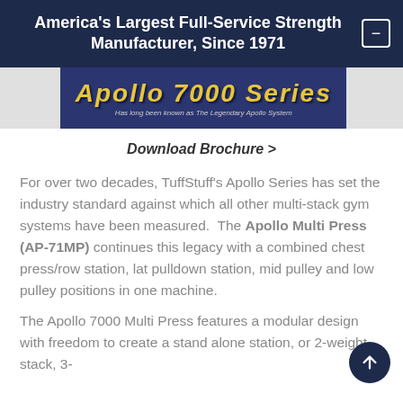America's Largest Full-Service Strength Manufacturer, Since 1971
[Figure (screenshot): Apollo 7000 Series banner image with yellow stylized text on dark navy background, subtitle reads 'Has long been known as The Legendary Apollo System']
Download Brochure >
For over two decades, TuffStuff's Apollo Series has set the industry standard against which all other multi-stack gym systems have been measured. The Apollo Multi Press (AP-71MP) continues this legacy with a combined chest press/row station, lat pulldown station, mid pulley and low pulley positions in one machine.
The Apollo 7000 Multi Press features a modular design with freedom to create a stand alone station, or 2-weight stack, 3-